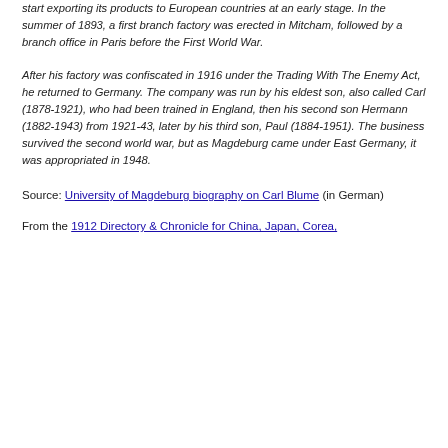start exporting its products to European countries at an early stage. In the summer of 1893, a first branch factory was erected in Mitcham, followed by a branch office in Paris before the First World War.
After his factory was confiscated in 1916 under the Trading With The Enemy Act, he returned to Germany. The company was run by his eldest son, also called Carl (1878-1921), who had been trained in England, then his second son Hermann (1882-1943) from 1921-43, later by his third son, Paul (1884-1951). The business survived the second world war, but as Magdeburg came under East Germany, it was appropriated in 1948.
Source: University of Magdeburg biography on Carl Blume (in German)
From the 1912 Directory & Chronicle for China, Japan, Corea,